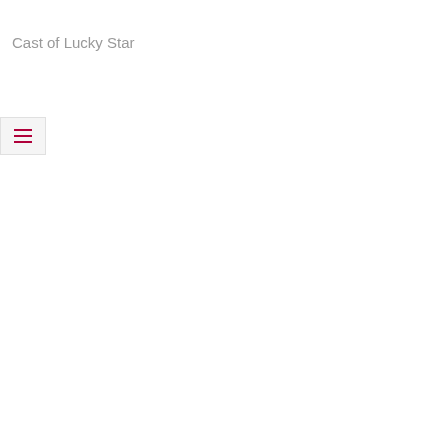[Figure (other): Broken image placeholder showing alt text 'Cast of Lucky Star']
[Figure (other): Hamburger menu button with three horizontal lines in dark red/crimson color on a light gray background]